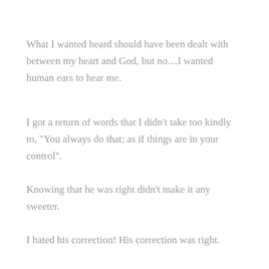What I wanted heard should have been dealt with between my heart and God, but no…I wanted human ears to hear me.
I got a return of words that I didn't take too kindly to, “You always do that; as if things are in your control”.
Knowing that he was right didn’t make it any sweeter.
I hated his correction! His correction was right.